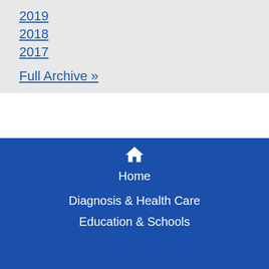2019
2018
2017
Full Archive »
Home
Diagnosis & Health Care
Education & Schools